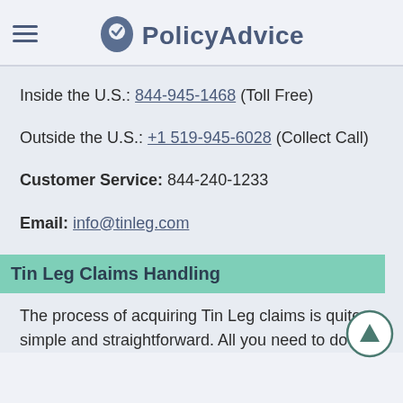PolicyAdvice
Inside the U.S.: 844-945-1468 (Toll Free)
Outside the U.S.: +1 519-945-6028 (Collect Call)
Customer Service: 844-240-1233
Email: info@tinleg.com
Tin Leg Claims Handling
The process of acquiring Tin Leg claims is quite simple and straightforward. All you need to do is